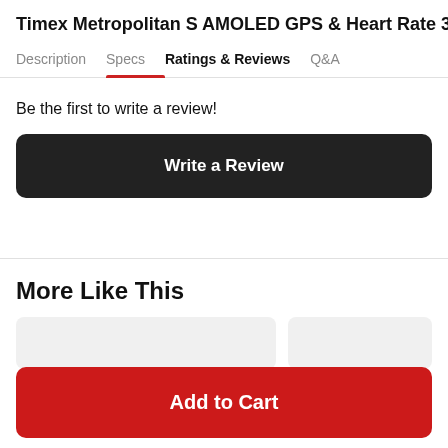Timex Metropolitan S AMOLED GPS & Heart Rate 36m
Description   Specs   Ratings & Reviews   Q&A
Be the first to write a review!
Write a Review
More Like This
Add to Cart